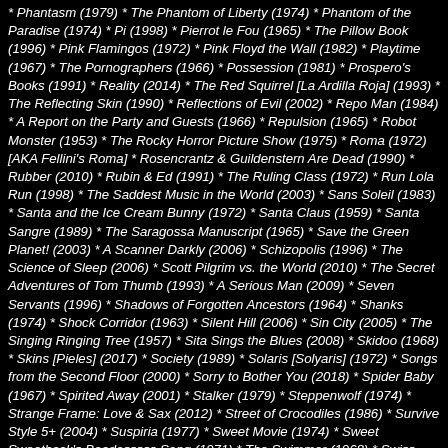* Phantasm (1979) * The Phantom of Liberty (1974) * Phantom of the Paradise (1974) * Pi (1998) * Pierrot le Fou (1965) * The Pillow Book (1996) * Pink Flamingos (1972) * Pink Floyd the Wall (1982) * Playtime (1967) * The Pornographers (1966) * Possession (1981) * Prospero's Books (1991) * Reality (2014) * The Red Squirrel [La Ardilla Roja] (1993) * The Reflecting Skin (1990) * Reflections of Evil (2002) * Repo Man (1984) * A Report on the Party and Guests (1966) * Repulsion (1965) * Robot Monster (1953) * The Rocky Horror Picture Show (1975) * Roma (1972) [AKA Fellini's Roma] * Rosencrantz & Guildenstern Are Dead (1990) * Rubber (2010) * Rubin & Ed (1991) * The Ruling Class (1972) * Run Lola Run (1998) * The Saddest Music in the World (2003) * Sans Soleil (1983) * Santa and the Ice Cream Bunny (1972) * Santa Claus (1959) * Santa Sangre (1989) * The Saragossa Manuscript (1965) * Save the Green Planet! (2003) * A Scanner Darkly (2006) * Schizopolis (1996) * The Science of Sleep (2006) * Scott Pilgrim vs. the World (2010) * The Secret Adventures of Tom Thumb (1993) * A Serious Man (2009) * Seven Servants (1996) * Shadows of Forgotten Ancestors (1964) * Shanks (1974) * Shock Corridor (1963) * Silent Hill (2006) * Sin City (2005) * The Singing Ringing Tree (1957) * Sita Sings the Blues (2008) * Skidoo (1968) * Skins [Pieles] (2017) * Society (1989) * Solaris [Solyaris] (1972) * Songs from the Second Floor (2000) * Sorry to Bother You (2018) * Spider Baby (1967) * Spirited Away (2001) * Stalker (1979) * Steppenwolf (1974) * Strange Frame: Love & Sax (2012) * Street of Crocodiles (1986) * Survive Style 5+ (2004) * Suspiria (1977) * Sweet Movie (1974) * Sweet Sweetback's Baadasssss Song (1971) * The Swimmer (1968) * Swiss Army Man (2016) * Synecdoche, New York (2008)